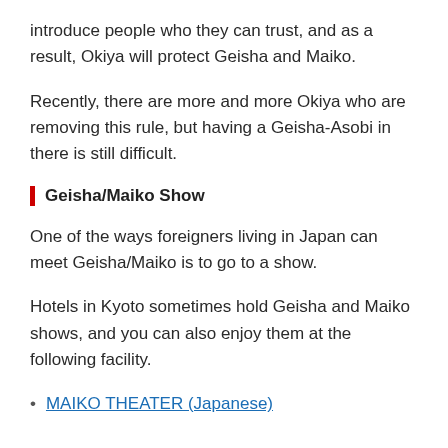introduce people who they can trust, and as a result, Okiya will protect Geisha and Maiko.
Recently, there are more and more Okiya who are removing this rule, but having a Geisha-Asobi in there is still difficult.
Geisha/Maiko Show
One of the ways foreigners living in Japan can meet Geisha/Maiko is to go to a show.
Hotels in Kyoto sometimes hold Geisha and Maiko shows, and you can also enjoy them at the following facility.
MAIKO THEATER (Japanese)